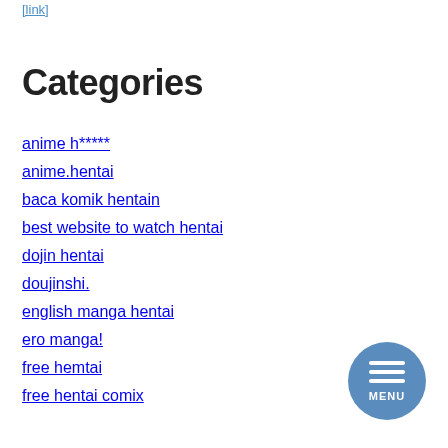[truncated link]
Categories
anime h*****
anime.hentai
baca komik hentain
best website to watch hentai
dojin hentai
doujinshi.
english manga hentai
ero manga!
free hemtai
free hentai comix